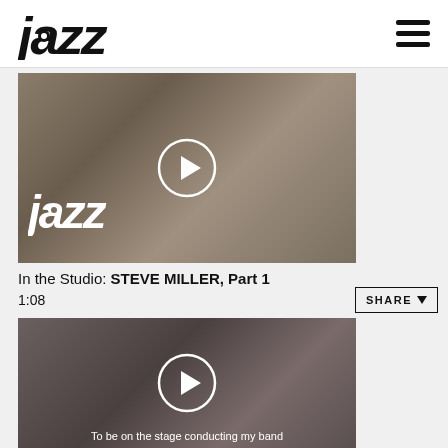jazz
[Figure (screenshot): Video thumbnail showing man with gray hair and glasses, jazz logo overlay, play button in center]
In the Studio: STEVE MILLER, Part 1
1:08
[Figure (screenshot): Video thumbnail showing man with black hat and round glasses, play button in center, subtitle text at bottom]